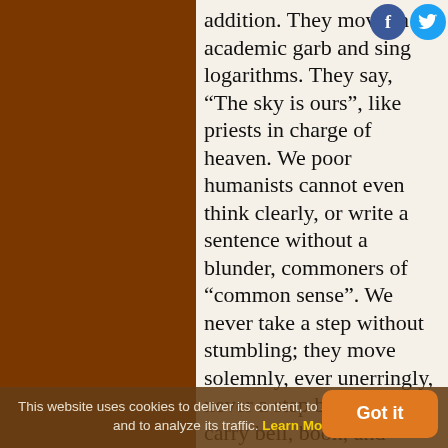addition. They move in academic garb and sing logarithms. They say, “The sky is ours”, like priests in charge of heaven. We poor humanists cannot even think clearly, or write a sentence without a blunder, commoners of “common sense”. We never take a step without stumbling; they move solemnly, ever unerringly, never a step back, and carry bell, book, and candle.
— Immanuel Velikovsky, himself in Stargazers and Gravediggers: Memoirs to Worlds in Collision (2012): 313
This website uses cookies to deliver its content, to show relevant ads and to analyze its traffic. Learn More